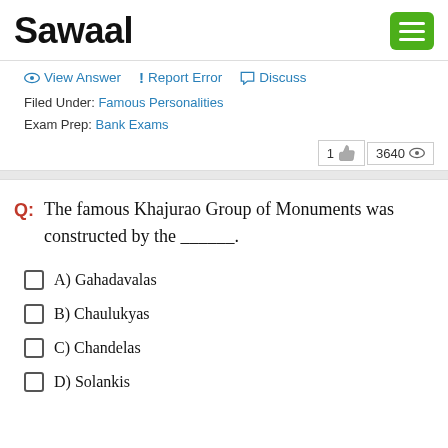Sawaal
View Answer  Report Error  Discuss
Filed Under: Famous Personalities
Exam Prep: Bank Exams
1 👍  3640 👁
Q: The famous Khajurao Group of Monuments was constructed by the ______.
A) Gahadavalas
B) Chaulukyas
C) Chandelas
D) Solankis